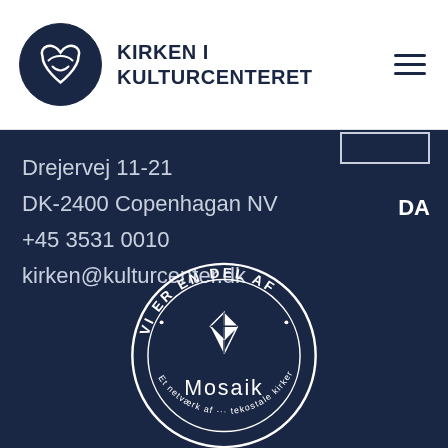[Figure (logo): Kirken i Kulturcenteret logo — circular dark navy icon with heart/bird shape, beside bold uppercase text 'KIRKEN I KULTURCENTERET']
Drejervej 11-21
DK-2400 Copenhagan NV
+45 3531 0010
kirken@kulturcenter.dk
DA
[Figure (logo): Mosaik circular badge — white circle outline on dark navy background, text 'VI ER EN DEL AF' around top arc, 'Et netværk af ... tekostale kirker' around bottom arc, white diamond/cross geometric icon in center, 'Mosaik' text below icon]